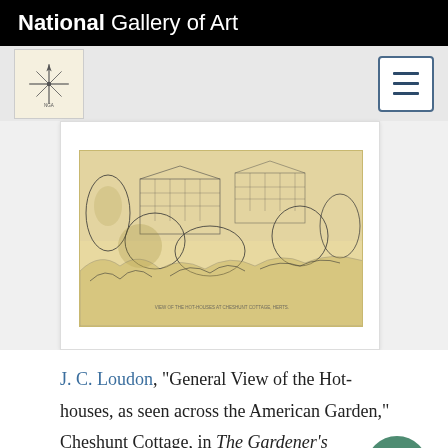National Gallery of Art
[Figure (logo): National Gallery of Art compass-rose style logo icon on beige background, next to a hamburger menu button]
[Figure (illustration): Vintage engraving: General View of the Hot-houses as seen across the American Garden, Cheshunt Cottage. Shows greenhouse structures behind trees and flowering shrubs in the foreground. Sepia/yellowish toned print.]
J. C. Loudon, "General View of the Hot-houses, as seen across the American Garden," Cheshunt Cottage, in The Gardener's Magazine, and Register of